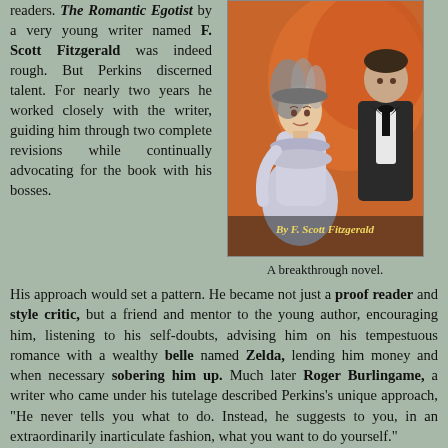readers. The Romantic Egotist by a very young writer named F. Scott Fitzgerald was indeed rough. But Perkins discerned talent. For nearly two years he worked closely with the writer, guiding him through two complete revisions while continually advocating for the book with his bosses.
[Figure (illustration): Book cover illustration showing a young woman in a white dress with a feathered hat and a man in a tuxedo, with the text 'By F. Scott Fitzgerald' at the bottom, on an orange-red background.]
A breakthrough novel.
His approach would set a pattern. He became not just a proof reader and style critic, but a friend and mentor to the young author, encouraging him, listening to his self-doubts, advising him on his tempestuous romance with a wealthy belle named Zelda, lending him money and when necessary sobering him up. Much later Roger Burlingame, a writer who came under his tutelage described Perkins's unique approach, "He never tells you what to do. Instead, he suggests to you, in an extraordinarily inarticulate fashion, what you want to do yourself."
Despite all of his work, it looked like Scribner's would finally reject the book. At a last, desperate conference, Perkins appealed